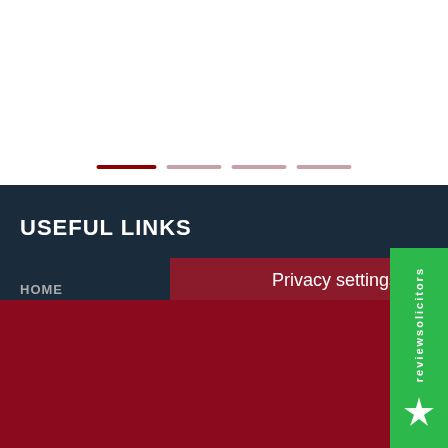[Figure (screenshot): White top section with carousel indicator dots — one active dark red dot and three lighter pink dots in a row]
USEFUL LINKS
Privacy settings
We use cookies on this site to enhance your user experience
By clicking the Accept button, you agree to us doing so.
Accept
No, thanks
[Figure (logo): reviewsolicitors green vertical badge with logo icon and vertical text]